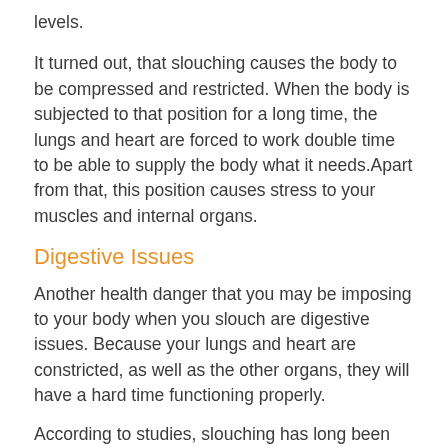levels.
It turned out, that slouching causes the body to be compressed and restricted. When the body is subjected to that position for a long time, the lungs and heart are forced to work double time to be able to supply the body what it needs.Apart from that, this position causes stress to your muscles and internal organs.
Digestive Issues
Another health danger that you may be imposing to your body when you slouch are digestive issues. Because your lungs and heart are constricted, as well as the other organs, they will have a hard time functioning properly.
According to studies, slouching has long been attributed to acidic reflux and even heartburn.